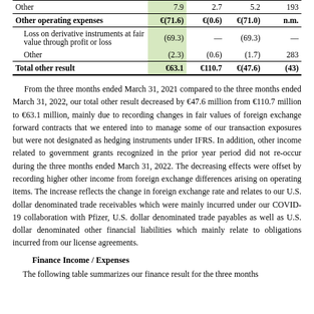|  | Q1 2022 | Q1 2021 | Change (€M) | Change (%) |
| --- | --- | --- | --- | --- |
| Other | 7.9 | 2.7 | 5.2 | 193 |
| Other operating expenses | €(71.6) | €(0.6) | €(71.0) | n.m. |
| Loss on derivative instruments at fair value through profit or loss | (69.3) | — | (69.3) | — |
| Other | (2.3) | (0.6) | (1.7) | 283 |
| Total other result | €63.1 | €110.7 | €(47.6) | (43) |
From the three months ended March 31, 2021 compared to the three months ended March 31, 2022, our total other result decreased by €47.6 million from €110.7 million to €63.1 million, mainly due to recording changes in fair values of foreign exchange forward contracts that we entered into to manage some of our transaction exposures but were not designated as hedging instruments under IFRS. In addition, other income related to government grants recognized in the prior year period did not re-occur during the three months ended March 31, 2022. The decreasing effects were offset by recording higher other income from foreign exchange differences arising on operating items. The increase reflects the change in foreign exchange rate and relates to our U.S. dollar denominated trade receivables which were mainly incurred under our COVID-19 collaboration with Pfizer, U.S. dollar denominated trade payables as well as U.S. dollar denominated other financial liabilities which mainly relate to obligations incurred from our license agreements.
Finance Income / Expenses
The following table summarizes our finance result for the three months...